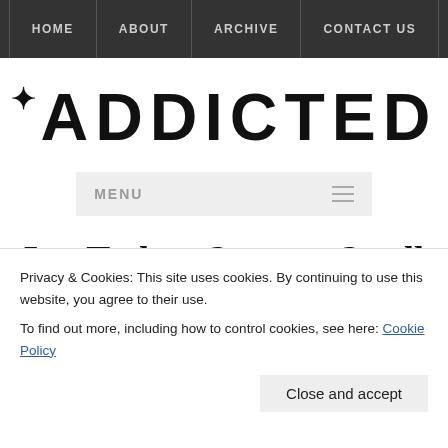HOME | ABOUT | ARCHIVE | CONTACT US
ADDICTED
MENU
Les Techno Stops to Smell
Privacy & Cookies: This site uses cookies. By continuing to use this website, you agree to their use.
To find out more, including how to control cookies, see here: Cookie Policy
Close and accept